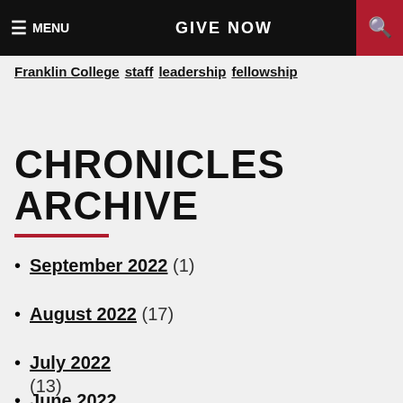MENU   GIVE NOW   [search icon]
Franklin College  staff  leadership  fellowship
CHRONICLES ARCHIVE
September 2022 (1)
August 2022 (17)
July 2022 (13)
June 2022